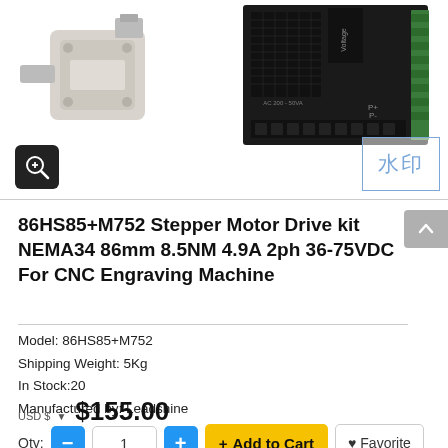[Figure (photo): Product photo showing a NEMA34 stepper motor (grey/beige) on the left and a black M752 stepper motor driver/controller on the right with wiring terminals. A watermark box with Chinese characters 水印 appears in the bottom-right corner. A zoom icon button appears bottom-left.]
86HS85+M752 Stepper Motor Drive kit NEMA34 86mm 8.5NM 4.9A 2ph 36-75VDC For CNC Engraving Machine
Model: 86HS85+M752
Shipping Weight: 5Kg
In Stock:20
Manufactured by: Leadshine
USD $  $155.00
Qty:  1   + Add to Cart   ♥ Favorite
Submit a wholesale Inquiry   Payment method
Shipping method   Contact us